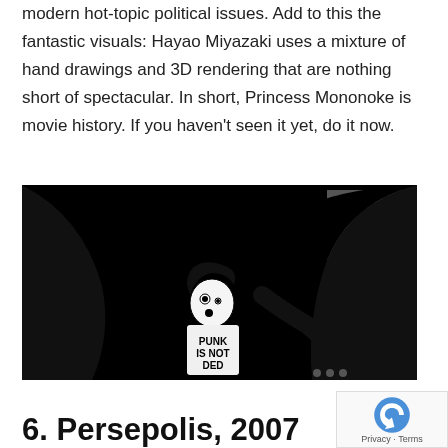modern hot-topic political issues. Add to this the fantastic visuals: Hayao Miyazaki uses a mixture of hand drawings and 3D rendering that are nothing short of spectacular. In short, Princess Mononoke is movie history. If you haven't seen it yet, do it now.
[Figure (illustration): Black and white animation still from Persepolis showing a child wearing a shirt that reads 'PUNK IS NOT DED' being grabbed by two large dark figures with expressive faces, in a stark graphic style.]
6. Persepolis, 2007